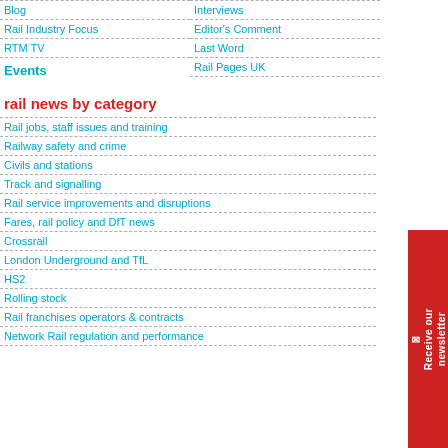Blog
Rail Industry Focus
RTM TV
Events
Interviews
Editor's Comment
Last Word
Rail Pages UK
rail news by category
Rail jobs, staff issues and training
Railway safety and crime
Civils and stations
Track and signalling
Rail service improvements and disruptions
Fares, rail policy and DfT news
Crossrail
London Underground and TfL
HS2
Rolling stock
Rail franchises operators & contracts
Network Rail regulation and performance